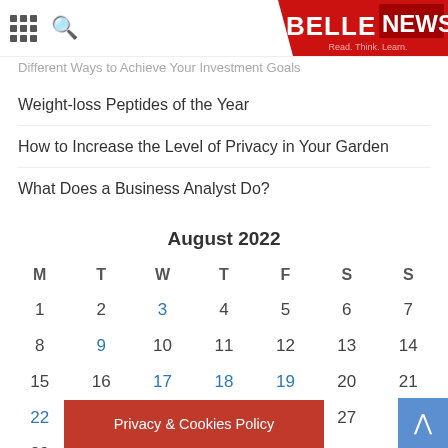BELLENEWS — Read. Think. Learn.
Different Ways to Achieve Your Investment Goals
Weight-loss Peptides of the Year
How to Increase the Level of Privacy in Your Garden
What Does a Business Analyst Do?
| M | T | W | T | F | S | S |
| --- | --- | --- | --- | --- | --- | --- |
| 1 | 2 | 3 | 4 | 5 | 6 | 7 |
| 8 | 9 | 10 | 11 | 12 | 13 | 14 |
| 15 | 16 | 17 | 18 | 19 | 20 | 21 |
| 22 | 23 | 24 | 25 | 26 | 27 | 28 |
| 29 | 30 | 31 |  |  |  |  |
Privacy & Cookies Policy